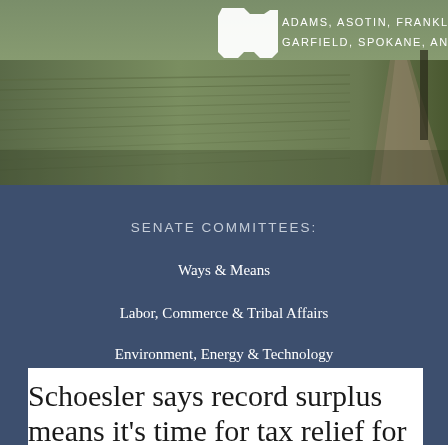[Figure (photo): Aerial/ground view of green agricultural fields with a road visible on the right side, used as a header background image for a Washington State Senate representative's page.]
ADAMS, ASOTIN, FRANKLIN
GARFIELD, SPOKANE, AND WHITMAN
SENATE COMMITTEES:
Ways & Means
Labor, Commerce & Tribal Affairs
Environment, Energy & Technology
Schoesler says record surplus means it's time for tax relief for